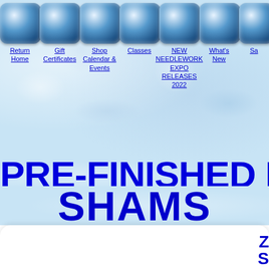[Figure (screenshot): Navigation bar with blue rounded square icons and links: Return Home, Gift Certificates, Shop Calendar & Events, Classes, NEW NEEDLEWORK EXPO RELEASES 2022, What's New, Sa[les]]
PRE-FINISHED PI[LLOWS &] SHAMS
Z[...]
S[...]